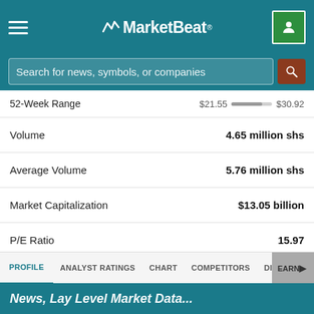MarketBeat
Search for news, symbols, or companies
| Metric | Value |
| --- | --- |
| 52-Week Range | $21.55 — $30.92 |
| Volume | 4.65 million shs |
| Average Volume | 5.76 million shs |
| Market Capitalization | $13.05 billion |
| P/E Ratio | 15.97 |
| Dividend Yield | 2.21% |
| Price Target | $27.40 |
PROFILE  ANALYST RATINGS  CHART  COMPETITORS  DIVIDEND  EARNINGS